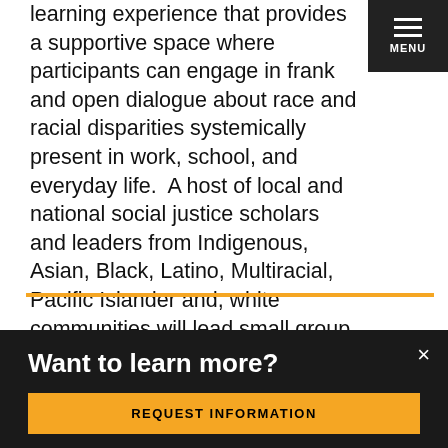learning experience that provides a supportive space where participants can engage in frank and open dialogue about race and racial disparities systemically present in work, school, and everyday life.  A host of local and national social justice scholars and leaders from Indigenous, Asian, Black, Latino, Multiracial, Pacific Islander and, white communities will lead small group discussions.
[Figure (photo): Dark photograph showing two figures or objects in low light with warm brown tones against a very dark background]
Want to learn more?
REQUEST INFORMATION